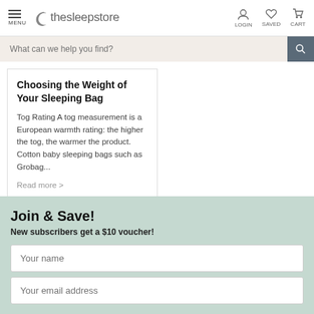MENU | thesleepstore | LOGIN | SAVED | CART
What can we help you find?
Choosing the Weight of Your Sleeping Bag
Tog Rating A tog measurement is a European warmth rating: the higher the tog, the warmer the product. Cotton baby sleeping bags such as Grobag...
Read more >
Join & Save!
New subscribers get a $10 voucher!
Your name
Your email address